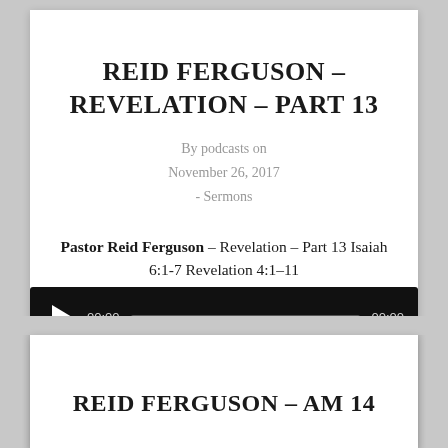REID FERGUSON – REVELATION – PART 13
By podcasts on November 26, 2017 - Sermons
Pastor Reid Ferguson – Revelation – Part 13 Isaiah 6:1-7 Revelation 4:1–11
[Figure (screenshot): Audio player widget with play button, time display 00:00, progress bar, and end time 00:00 on dark background]
Podcast: Play in new window | Download
[Figure (other): Two icon buttons: share icon circle and comment/more icon circle]
REID FERGUSON – AM 14